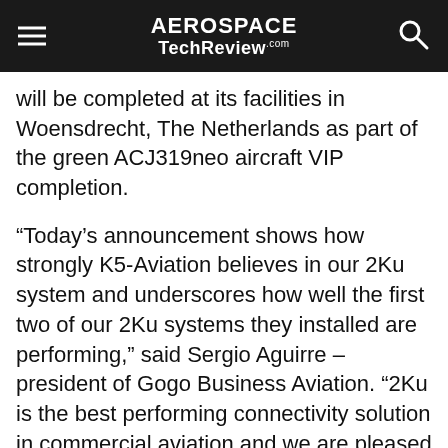AEROSPACE TechReview.com
will be completed at its facilities in Woensdrecht, The Netherlands as part of the green ACJ319neo aircraft VIP completion.
“Today’s announcement shows how strongly K5-Aviation believes in our 2Ku system and underscores how well the first two of our 2Ku systems they installed are performing,” said Sergio Aguirre – president of Gogo Business Aviation. “2Ku is the best performing connectivity solution in commercial aviation and we are pleased that our customers who fly large business jets are now able to enjoy the same terrific